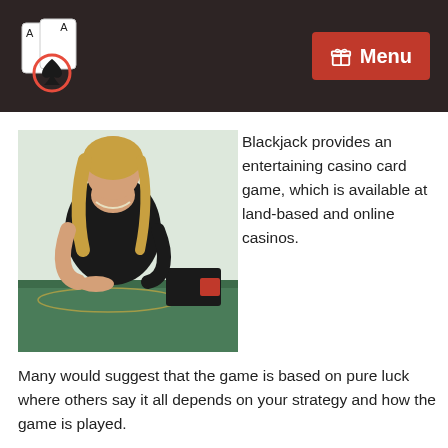Menu
[Figure (photo): Female blackjack dealer in black dress standing at a green felt blackjack table with a card shoe]
Blackjack provides an entertaining casino card game, which is available at land-based and online casinos. Many would suggest that the game is based on pure luck where others say it all depends on your strategy and how the game is played.
However, with the payout percentage above 98%, you'll find